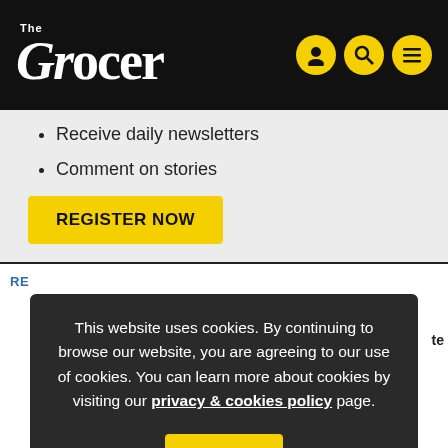The Grocer
Receive daily newsletters
Comment on stories
REGISTER NOW
RE
This website uses cookies. By continuing to browse our website, you are agreeing to our use of cookies. You can learn more about cookies by visiting our privacy & cookies policy page.
te
OK
News
Innis & Gunn appoints Neil Innis Sharp